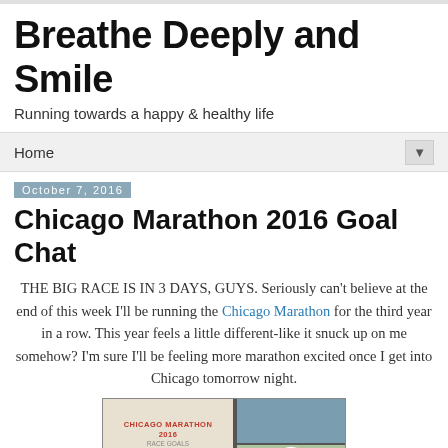Breathe Deeply and Smile
Running towards a happy & healthy life
Home ▼
October 7, 2016
Chicago Marathon 2016 Goal Chat
THE BIG RACE IS IN 3 DAYS, GUYS. Seriously can't believe at the end of this week I'll be running the Chicago Marathon for the third year in a row. This year feels a little different-like it snuck up on me somehow? I'm sure I'll be feeling more marathon excited once I get into Chicago tomorrow night.
[Figure (photo): Collage of Chicago Marathon 2016 Race Goals: handwritten text on paper on left, city skyline photo top right, person holding GPS watch bottom right]